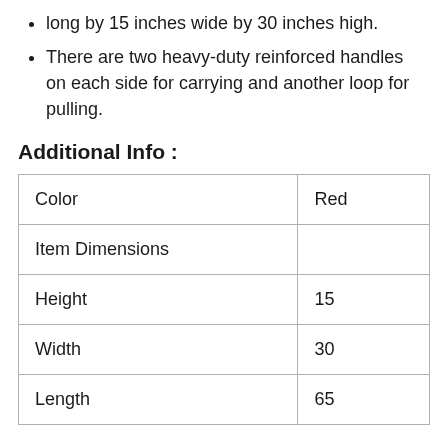long by 15 inches wide by 30 inches high.
There are two heavy-duty reinforced handles on each side for carrying and another loop for pulling.
Additional Info :
| Color | Red |
| Item Dimensions |  |
| Height | 15 |
| Width | 30 |
| Length | 65 |